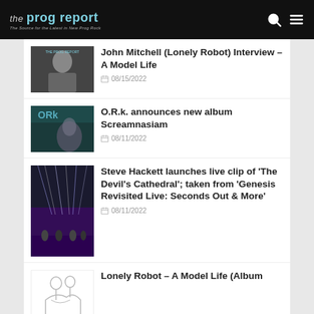the prog report – The Source for the Latest in New Prog Rock
John Mitchell (Lonely Robot) Interview – A Model Life | 08/15/2022
O.R.k. announces new album Screamnasiam | 08/11/2022
Steve Hackett launches live clip of 'The Devil's Cathedral'; taken from 'Genesis Revisited Live: Seconds Out & More' | 08/11/2022
Lonely Robot – A Model Life (Album